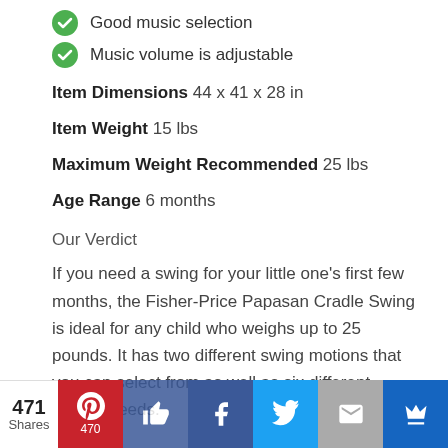Good music selection
Music volume is adjustable
Item Dimensions 44 x 41 x 28 in
Item Weight 15 lbs
Maximum Weight Recommended 25 lbs
Age Range 6 months
Our Verdict
If you need a swing for your little one's first few months, the Fisher-Price Papasan Cradle Swing is ideal for any child who weighs up to 25 pounds. It has two different swing motions that you can select from as well as six different swing speeds.
471 Shares | Pinterest 470 | Like | Facebook | Twitter | Email | Crown